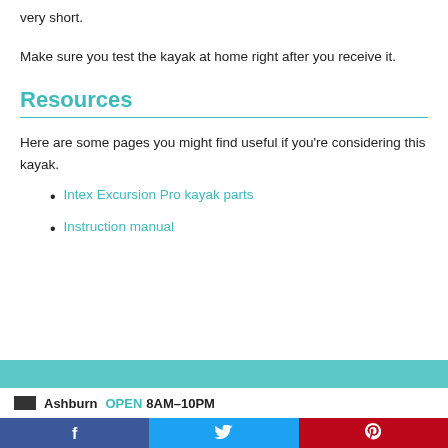very short.
Make sure you test the kayak at home right after you receive it.
Resources
Here are some pages you might find useful if you're considering this kayak.
Intex Excursion Pro kayak parts
Instruction manual
Ashburn  OPEN 8AM–10PM